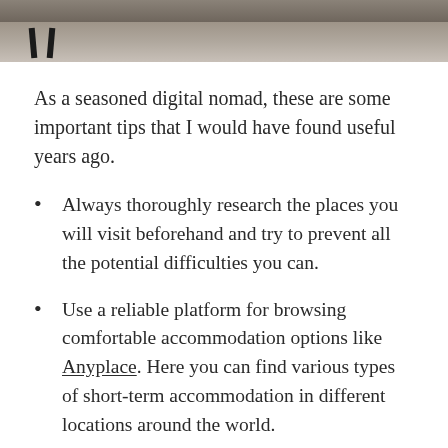[Figure (photo): Bottom portion of a photo showing chair legs and shoes on a floor, cropped at top of page]
As a seasoned digital nomad, these are some important tips that I would have found useful years ago.
Always thoroughly research the places you will visit beforehand and try to prevent all the potential difficulties you can.
Use a reliable platform for browsing comfortable accommodation options like Anyplace. Here you can find various types of short-term accommodation in different locations around the world.